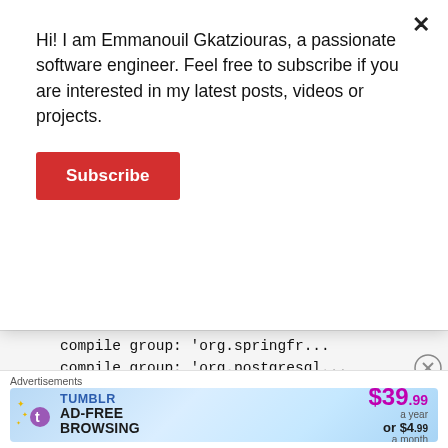Hi! I am Emmanouil Gkatziouras, a passionate software engineer. Feel free to subscribe if you are interested in my latest posts, videos or projects.
Subscribe
compile group: 'org.springfr...
compile group: 'org.postgresql...
compile group: 'org.springfra...
compile group: 'com.zaxxer',
compile group: 'com.hazelcast...
compile group: 'com.hazelcast...
testCompile group: 'junit', n...
Advertisements
[Figure (other): Tumblr Ad-Free Browsing advertisement banner. $39.99 a year or $4.99 a month.]